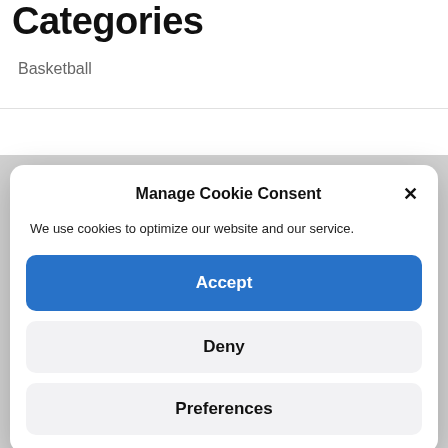Categories
Basketball
[Figure (screenshot): Cookie consent modal dialog with title 'Manage Cookie Consent', close button (X), description text, and three buttons: Accept (blue), Deny, Preferences]
Football
Games